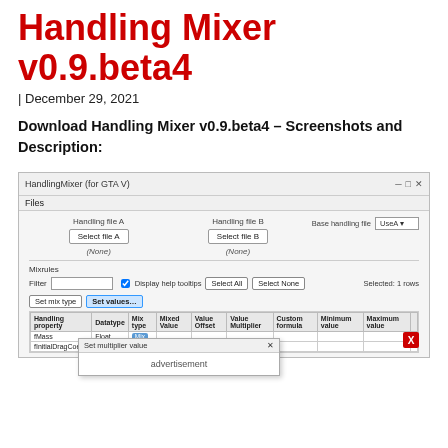Handling Mixer v0.9.beta4
| December 29, 2021
Download Handling Mixer v0.9.beta4 – Screenshots and Description:
[Figure (screenshot): Screenshot of HandlingMixer for GTA V application window showing two file selectors (Handling file A and Handling file B), a base handling file dropdown set to 'UseA', Select All and Select None buttons, a filter input, Display help tooltips checkbox, a data table with columns for Handling property, Datatype, Mix type, Mixed Value, Value Offset, Value Multiplier, Custom formula, Minimum value, Maximum value, and rows for fMass and fInitialDragCoeff with Mix type badges, and a 'Set multiplier value' popup overlay with an advertisement placeholder and X close button.]